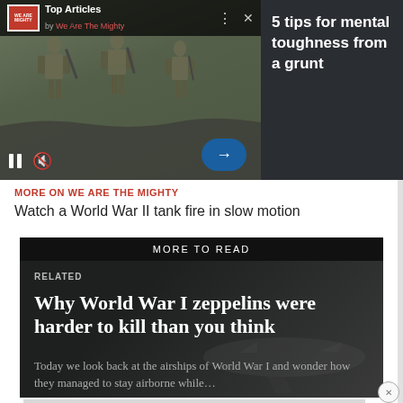[Figure (screenshot): Video player showing soldiers in military gear walking, with 'Top Articles by We Are The Mighty' header bar, pause and mute controls, and right arrow button]
5 tips for mental toughness from a grunt
MORE ON WE ARE THE MIGHTY
Watch a World War II tank fire in slow motion
MORE TO READ
RELATED
Why World War I zeppelins were harder to kill than you think
Today we look back at the airships of World War I and wonder how they managed to stay airborne while…
[Figure (infographic): Advertisement banner with repeating circular logo pattern on grey background]